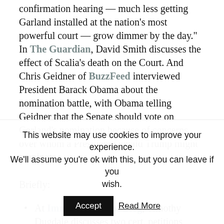confirmation hearing — much less getting Garland installed at the nation's most powerful court — grow dimmer by the day." In The Guardian, David Smith discusses the effect of Scalia's death on the Court. And Chris Geidner of BuzzFeed interviewed President Barack Obama about the nomination battle, with Obama telling Geidner that the Senate should vote on Garland's nomination because of concerns over whom a President Donald Trump might nominate.
Briefly:
At ImmigrationProf Blog, Timothy Dugdale discusses two cert. petitions involving the plenary [power doctrine]
This website may use cookies to improve your experience. We'll assume you're ok with this, but you can leave if you wish.